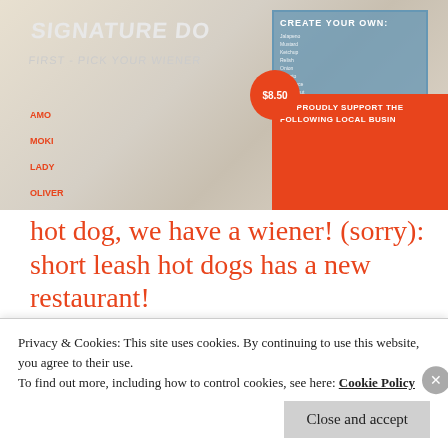[Figure (photo): Photo of a hot dog restaurant menu with sections labeled 'Signature Dogs', 'Crispy Duck', 'Mac Daddy', 'Create Your Own', showing menu items and prices including a $8.50 price circle, with a red strip showing 'We Proudly Support The Following Local Businesses']
hot dog, we have a wiener! (sorry): short leash hot dogs has a new restaurant!
I apologize for that corny title. I really do. It's all I could think of when I
Privacy & Cookies: This site uses cookies. By continuing to use this website, you agree to their use.
To find out more, including how to control cookies, see here: Cookie Policy
Close and accept